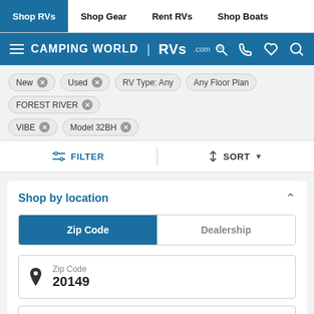Shop RVs | Shop Gear | Rent RVs | Shop Boats
[Figure (logo): Camping World RVs.com logo with navigation icons on blue bar]
New ×
Used ×
RV Type: Any
Any Floor Plan
FOREST RIVER ×
VIBE ×
Model 32BH ×
≡ FILTER | ◇ SORT ▼
Shop by location
Zip Code | Dealership
Zip Code
20149
Search by radius
Search within 200 mi